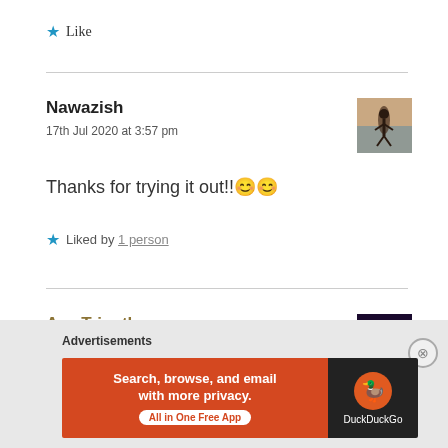Like
Nawazish
17th Jul 2020 at 3:57 pm
Thanks for trying it out!!😊😊
Liked by 1 person
Ava Tripathy
17th Jul 2020 at 4:00 pm
Advertisements
Search, browse, and email with more privacy. All in One Free App
[Figure (logo): DuckDuckGo logo and app advertisement banner]